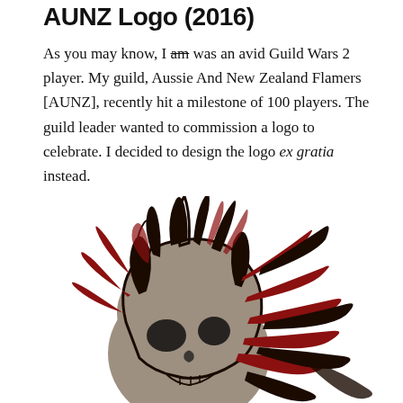AUNZ Logo (2016)
As you may know, I am was an avid Guild Wars 2 player. My guild, Aussie And New Zealand Flamers [AUNZ], recently hit a milestone of 100 players. The guild leader wanted to commission a logo to celebrate. I decided to design the logo ex gratia instead.
[Figure (illustration): AUNZ guild logo illustration showing a stylized skull with dramatic black and dark red flames surrounding it, rendered in a graphic art style with black outlines, grey skull tones, and deep crimson flame highlights.]